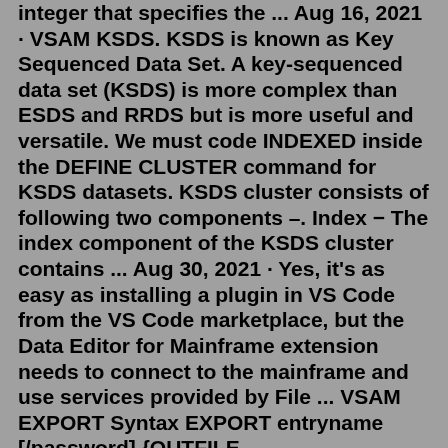integer that specifies the ... Aug 16, 2021 · VSAM KSDS. KSDS is known as Key Sequenced Data Set. A key-sequenced data set (KSDS) is more complex than ESDS and RRDS but is more useful and versatile. We must code INDEXED inside the DEFINE CLUSTER command for KSDS datasets. KSDS cluster consists of following two components –. Index − The index component of the KSDS cluster contains ... Aug 30, 2021 · Yes, it's as easy as installing a plugin in VS Code from the VS Code marketplace, but the Data Editor for Mainframe extension needs to connect to the mainframe and use services provided by File ... VSAM EXPORT Syntax EXPORT entryname [/password] {OUTFILE (ddname)|OUTDATASET (entryname)} [ERASE|NOERASE] [INFILE (ddname)] [INHIBITSOURCE|NOINHIBITSOURCE] [INHIBITTARGET|NOINHIBITTARGET] [PURGE|NOPURGE] [TEMPORARY|PERMANENT] The entry name is the name of the object that needs to be exported and